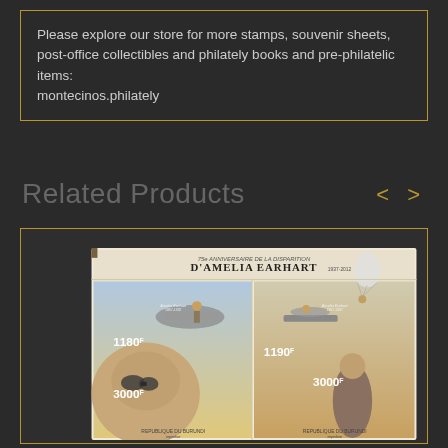Please explore our store for more stamps, souvenir sheets, post-office collectibles and philately books and pre-philatelic items: montecinos.philately
Related Products
[Figure (photo): Amelia Earhart 75th anniversary stamp souvenir sheet from Republique du Burundi, showing four stamps with denominations 1180, 3000, 1190, and 3000, featuring Amelia Earhart and aircraft]